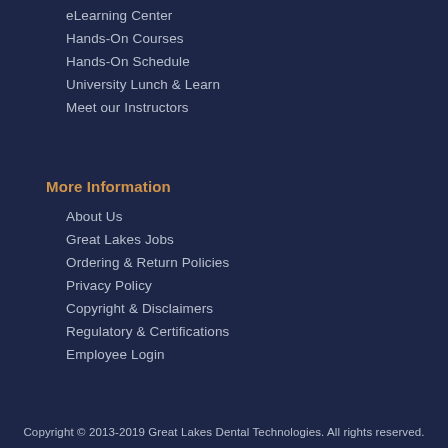eLearning Center
Hands-On Courses
Hands-On Schedule
University Lunch & Learn
Meet our Instructors
More Information
About Us
Great Lakes Jobs
Ordering & Return Policies
Privacy Policy
Copyright & Disclaimers
Regulatory & Certifications
Employee Login
Copyright © 2013-2019 Great Lakes Dental Technologies. All rights reserved.